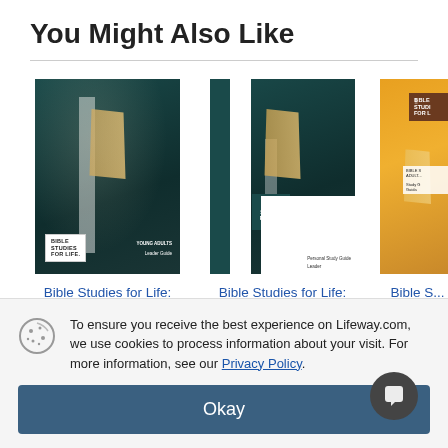You Might Also Like
[Figure (photo): Book cover: Bible Studies for Life Young Adult Leader Guide - Fall 2022]
Bible Studies for Life: Young Adult Leader Guide - Fall 2022
[Figure (photo): Book cover: Bible Studies for Life Young Adult Personal Study Guide - Fall]
Bible Studies for Life: Young Adult Personal Study Guide - Fall
[Figure (photo): Book cover: Bible Studies for Life Adult Guide (partially visible)]
Bible S... Adult ... Guid...
To ensure you receive the best experience on Lifeway.com, we use cookies to process information about your visit. For more information, see our Privacy Policy.
Okay